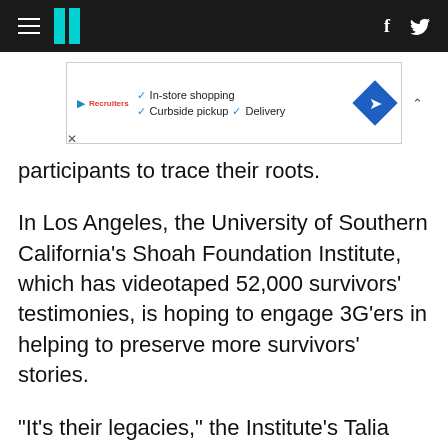HuffPost navigation header with hamburger menu, logo, Facebook and Twitter icons
[Figure (other): Advertisement banner showing in-store shopping, curbside pickup, and delivery options with a blue diamond direction icon]
participants to trace their roots.
In Los Angeles, the University of Southern California's Shoah Foundation Institute, which has videotaped 52,000 survivors' testimonies, is hoping to engage 3G'ers in helping to preserve more survivors' stories.
"It's their legacies," the Institute's Talia Cohen says.
In Philadelphia, Rita Ratson, 62, whose parents